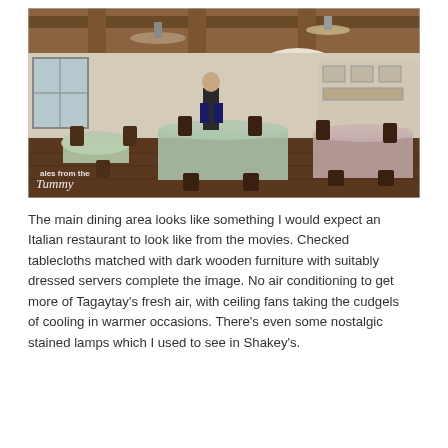[Figure (photo): Interior of an Italian-style restaurant with checked tablecloths, dark wooden furniture, wooden beam ceiling, ceiling fans, pendant lamps, and a server in a vest setting a table. Watermark reads 'tales from the tummy' in bottom-left corner.]
The main dining area looks like something I would expect an Italian restaurant to look like from the movies. Checked tablecloths matched with dark wooden furniture with suitably dressed servers complete the image. No air conditioning to get more of Tagaytay's fresh air, with ceiling fans taking the cudgels of cooling in warmer occasions. There's even some nostalgic stained lamps which I used to see in Shakey's.